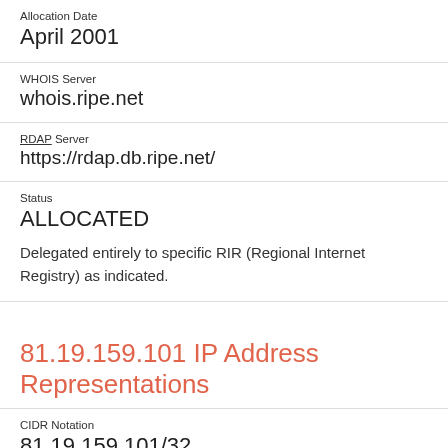Allocation Date
April 2001
WHOIS Server
whois.ripe.net
RDAP Server
https://rdap.db.ripe.net/
Status
ALLOCATED
Delegated entirely to specific RIR (Regional Internet Registry) as indicated.
81.19.159.101 IP Address Representations
CIDR Notation
81.19.159.101/32
Decimal Notation
1360240485